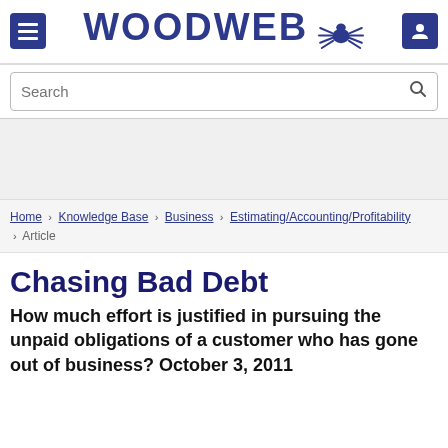WOODWEB
Search
Home > Knowledge Base > Business > Estimating/Accounting/Profitability > Article
Chasing Bad Debt
How much effort is justified in pursuing the unpaid obligations of a customer who has gone out of business? October 3, 2011